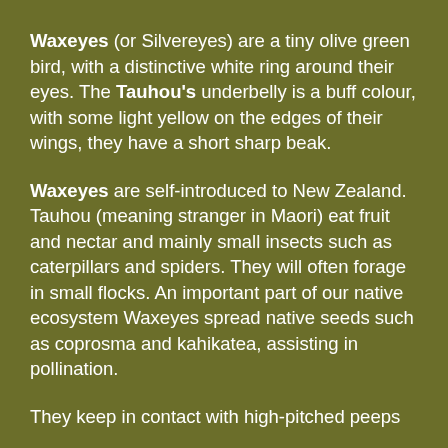Waxeyes (or Silvereyes) are a tiny olive green bird, with a distinctive white ring around their eyes. The Tauhou's underbelly is a buff colour, with some light yellow on the edges of their wings, they have a short sharp beak.
Waxeyes are self-introduced to New Zealand. Tauhou (meaning stranger in Maori) eat fruit and nectar and mainly small insects such as caterpillars and spiders. They will often forage in small flocks. An important part of our native ecosystem Waxeyes spread native seeds such as coprosma and kahikatea, assisting in pollination.
They keep in contact with high-pitched peeps